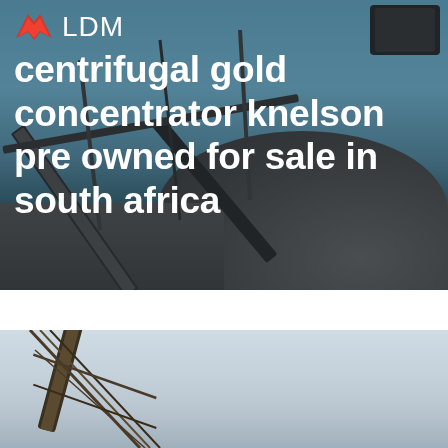[Figure (photo): Industrial mining conveyor belt and crushing plant with blue sky background, serving as hero banner image]
LDM centrifugal gold concentrator knelson pre owned for sale in south africa
[Figure (photo): Close-up of a tall industrial conveyor belt structure against a light sky]